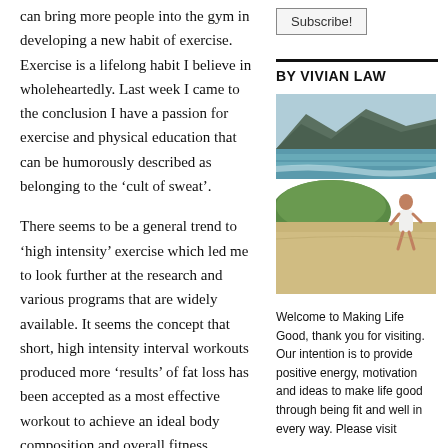can bring more people into the gym in developing a new habit of exercise. Exercise is a lifelong habit I believe in wholeheartedly. Last week I came to the conclusion I have a passion for exercise and physical education that can be humorously described as belonging to the ‘cult of sweat’.
There seems to be a general trend to ‘high intensity’ exercise which led me to look further at the research and various programs that are widely available. It seems the concept that short, high intensity interval workouts produced more ‘results’ of fat loss has been accepted as a most effective workout to achieve an ideal body composition and overall fitness.
‘High intensity’ exercises require you to utilize most major muscle groups of your body and
Subscribe!
BY VIVIAN LAW
[Figure (photo): Woman in white bikini running on a sandy beach with green vegetation and mountains in the background, ocean visible.]
Welcome to Making Life Good, thank you for visiting. Our intention is to provide positive energy, motivation and ideas to make life good through being fit and well in every way. Please visit